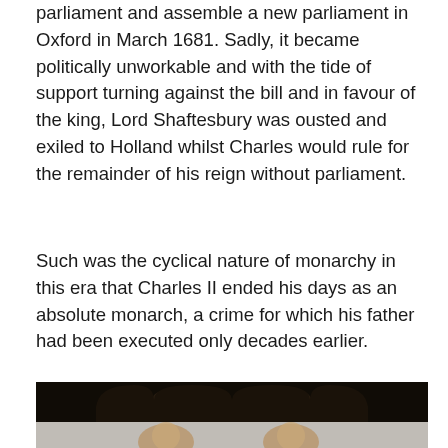parliament and assemble a new parliament in Oxford in March 1681. Sadly, it became politically unworkable and with the tide of support turning against the bill and in favour of the king, Lord Shaftesbury was ousted and exiled to Holland whilst Charles would rule for the remainder of his reign without parliament.
Such was the cyclical nature of monarchy in this era that Charles II ended his days as an absolute monarch, a crime for which his father had been executed only decades earlier.
[Figure (photo): Dark photograph showing two figures in period costume or wax figures against a very dark background, with a decorative arch-shaped silhouette at the top. The lower portion shows a lighter grey area with two faces visible.]